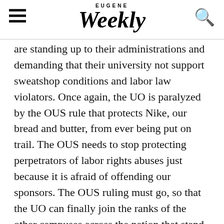Eugene Weekly
are standing up to their administrations and demanding that their university not support sweatshop conditions and labor law violators. Once again, the UO is paralyzed by the OUS rule that protects Nike, our bread and butter, from ever being put on trail. The OUS needs to stop protecting perpetrators of labor rights abuses just because it is afraid of offending our sponsors. The OUS ruling must go, so that the UO can finally join the ranks of the other campuses across the nation that stand up for worker's rights, justice and the law.
Mariah Thompson is a student activist and co-